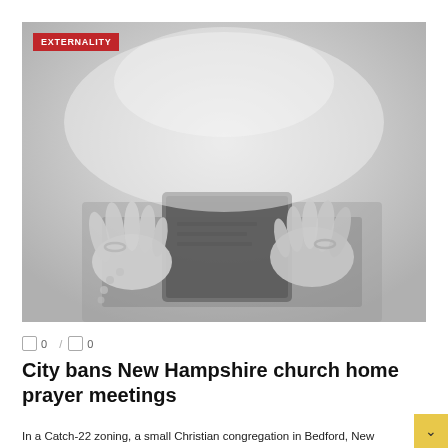[Figure (photo): Grayscale photo of hands clasped in prayer over a Holy Bible book]
EXTERNALITY
0  /  0
City bans New Hampshire church home prayer meetings
In a Catch-22 zoning, a small Christian congregation in Bedford, New Hampshire, is being told by local officials that because it was granted